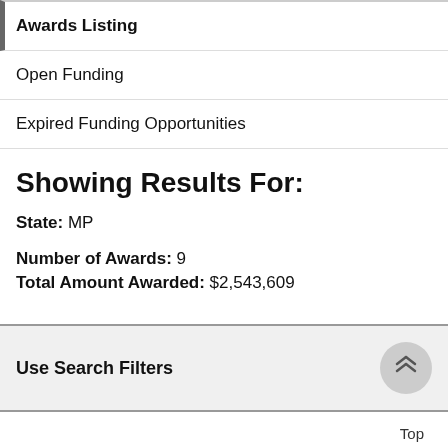Awards Listing
Open Funding
Expired Funding Opportunities
Showing Results For:
State: MP
Number of Awards: 9
Total Amount Awarded: $2,543,609
Use Search Filters
Top